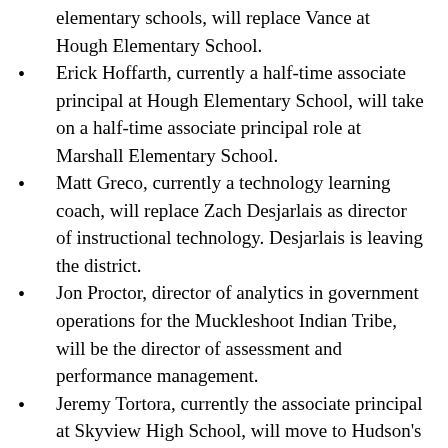elementary schools, will replace Vance at Hough Elementary School.
Erick Hoffarth, currently a half-time associate principal at Hough Elementary School, will take on a half-time associate principal role at Marshall Elementary School.
Matt Greco, currently a technology learning coach, will replace Zach Desjarlais as director of instructional technology. Desjarlais is leaving the district.
Jon Proctor, director of analytics in government operations for the Muckleshoot Indian Tribe, will be the director of assessment and performance management.
Jeremy Tortora, currently the associate principal at Skyview High School, will move to Hudson's Bay High School as associate principal.
Joseph Accuardi-Gilliam, currently the associate principal at Hudson's Bay High School, will fill